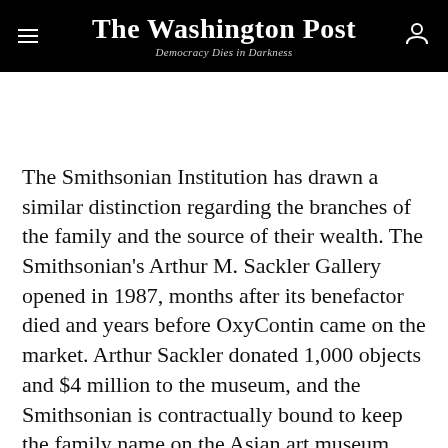The Washington Post — Democracy Dies in Darkness
The Smithsonian Institution has drawn a similar distinction regarding the branches of the family and the source of their wealth. The Smithsonian's Arthur M. Sackler Gallery opened in 1987, months after its benefactor died and years before OxyContin came on the market. Arthur Sackler donated 1,000 objects and $4 million to the museum, and the Smithsonian is contractually bound to keep the family name on the Asian art museum, according to a spokeswoman, who